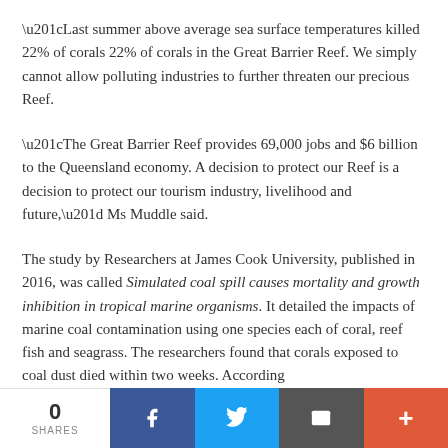“Last summer above average sea surface temperatures killed 22% of corals 22% of corals in the Great Barrier Reef. We simply cannot allow polluting industries to further threaten our precious Reef.
“The Great Barrier Reef provides 69,000 jobs and $6 billion to the Queensland economy. A decision to protect our Reef is a decision to protect our tourism industry, livelihood and future,” Ms Muddle said.
The study by Researchers at James Cook University, published in 2016, was called Simulated coal spill causes mortality and growth inhibition in tropical marine organisms. It detailed the impacts of marine coal contamination using one species each of coral, reef fish and seagrass. The researchers found that corals exposed to coal dust died within two weeks. According
0 SHARES | Facebook | Twitter | Email | More